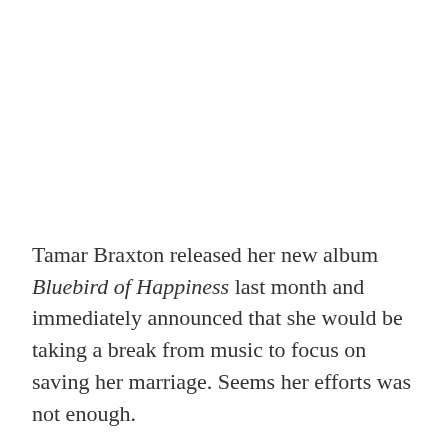Tamar Braxton released her new album Bluebird of Happiness last month and immediately announced that she would be taking a break from music to focus on saving her marriage. Seems her efforts was not enough.